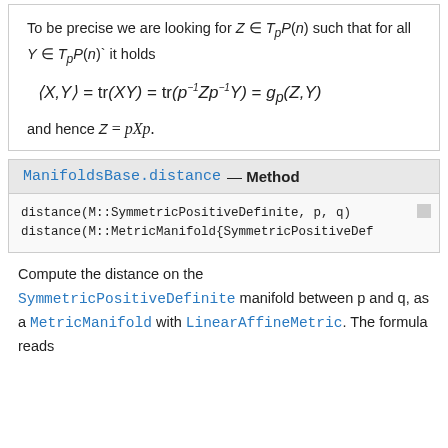To be precise we are looking for Z ∈ TpP(n) such that for all Y ∈ TpP(n)` it holds
and hence Z = pXp.
ManifoldsBase.distance — Method
distance(M::SymmetricPositiveDefinite, p, q)
distance(M::MetricManifold{SymmetricPositiveDef
Compute the distance on the SymmetricPositiveDefinite manifold between p and q, as a MetricManifold with LinearAffineMetric. The formula reads